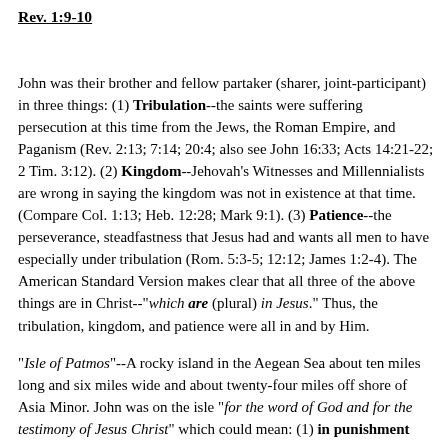Rev. 1:9-10
John was their brother and fellow partaker (sharer, joint-participant) in three things: (1) Tribulation--the saints were suffering persecution at this time from the Jews, the Roman Empire, and Paganism (Rev. 2:13; 7:14; 20:4; also see John 16:33; Acts 14:21-22; 2 Tim. 3:12). (2) Kingdom--Jehovah's Witnesses and Millennialists are wrong in saying the kingdom was not in existence at that time. (Compare Col. 1:13; Heb. 12:28; Mark 9:1). (3) Patience--the perseverance, steadfastness that Jesus had and wants all men to have especially under tribulation (Rom. 5:3-5; 12:12; James 1:2-4). The American Standard Version makes clear that all three of the above things are in Christ--"which are (plural) in Jesus." Thus, the tribulation, kingdom, and patience were all in and by Him.
"Isle of Patmos"--A rocky island in the Aegean Sea about ten miles long and six miles wide and about twenty-four miles off shore of Asia Minor. John was on the isle "for the word of God and for the testimony of Jesus Christ" which could mean: (1) in punishment